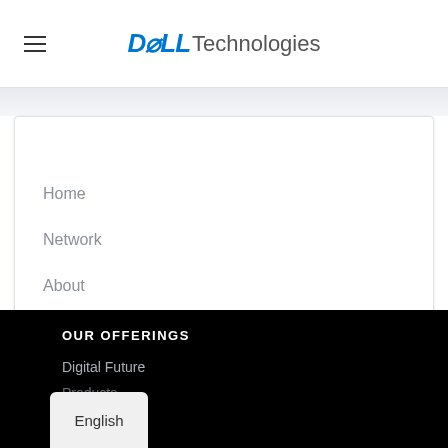DELL Technologies
Home
Network
About
OUR OFFERINGS
Digital Future
Products
English